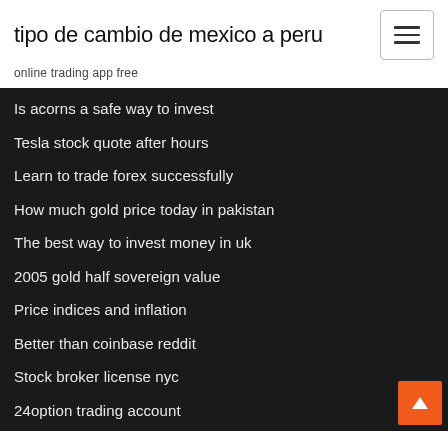tipo de cambio de mexico a peru
online trading app free
Is acorns a safe way to invest
Tesla stock quote after hours
Learn to trade forex successfully
How much gold price today in pakistan
The best way to invest money in uk
2005 gold half sovereign value
Price indices and inflation
Better than coinbase reddit
Stock broker license nyc
24option trading account